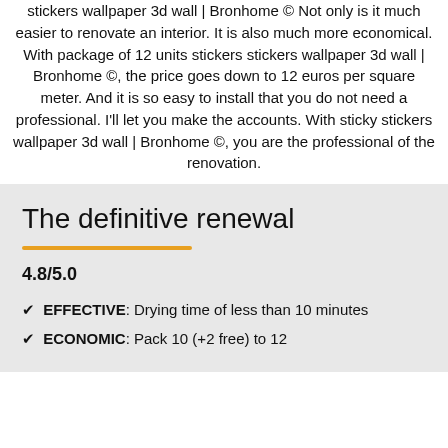stickers wallpaper 3d wall | Bronhome © Not only is it much easier to renovate an interior. It is also much more economical. With package of 12 units stickers stickers wallpaper 3d wall | Bronhome ©, the price goes down to 12 euros per square meter. And it is so easy to install that you do not need a professional. I'll let you make the accounts. With sticky stickers wallpaper 3d wall | Bronhome ©, you are the professional of the renovation.
The definitive renewal
4.8/5.0
EFFECTIVE: Drying time of less than 10 minutes
ECONOMIC: Pack 10 (+2 free) to 12